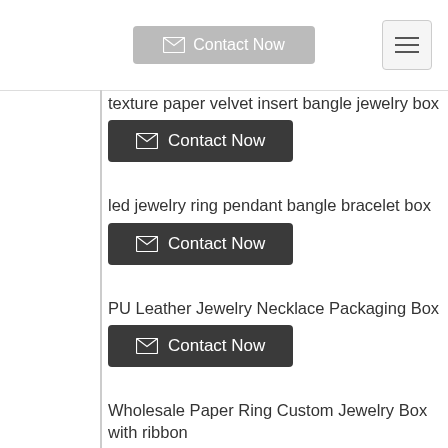Contact Now
texture paper velvet insert bangle jewelry box
Contact Now
led jewelry ring pendant bangle bracelet box
Contact Now
PU Leather Jewelry Necklace Packaging Box
Contact Now
Wholesale Paper Ring Custom Jewelry Box with ribbon
Contact Now
Custom Logo Cardboard Paper Gift Jewelry Packaging Box
Contact Now